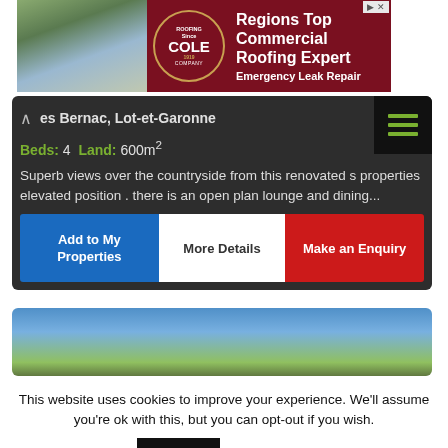[Figure (advertisement): Cole Roofing Company advertisement banner. Dark red background with aerial photo of building on left, Cole circular badge logo in center, text 'Regions Top Commercial Roofing Expert' and 'Emergency Leak Repair' on right.]
es Bernac, Lot-et-Garonne
Beds: 4 Land: 600m²
Superb views over the countryside from this renovated s properties elevated position . there is an open plan lounge and dining...
Add to My Properties
More Details
Make an Enquiry
[Figure (photo): Partial outdoor photo showing trees and blue sky.]
This website uses cookies to improve your experience. We'll assume you're ok with this, but you can opt-out if you wish.
Accept
Read More